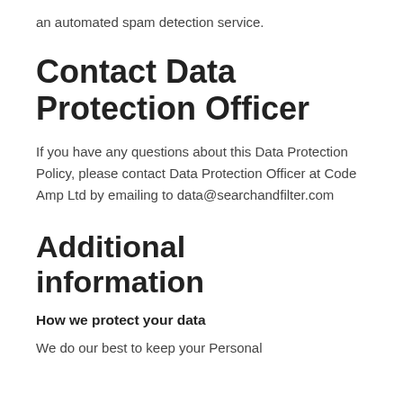an automated spam detection service.
Contact Data Protection Officer
If you have any questions about this Data Protection Policy, please contact Data Protection Officer at Code Amp Ltd by emailing to data@searchandfilter.com
Additional information
How we protect your data
We do our best to keep your Personal